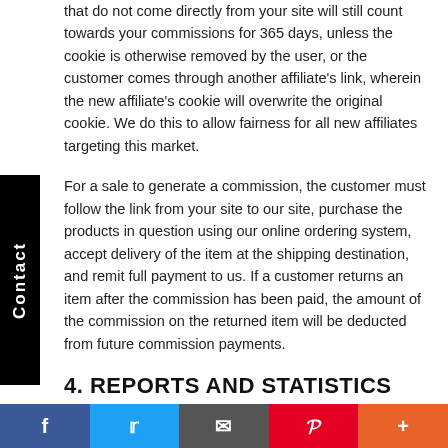that do not come directly from your site will still count towards your commissions for 365 days, unless the cookie is otherwise removed by the user, or the customer comes through another affiliate's link, wherein the new affiliate's cookie will overwrite the original cookie. We do this to allow fairness for all new affiliates targeting this market.
For a sale to generate a commission, the customer must follow the link from your site to our site, purchase the products in question using our online ordering system, accept delivery of the item at the shipping destination, and remit full payment to us. If a customer returns an item after the commission has been paid, the amount of the commission on the returned item will be deducted from future commission payments.
4. REPORTS AND STATISTICS
After registering your partner account with us, you have access to it at any time with your username and password. Appart to the advertising materials we store, your account also includes all statistics and reports on